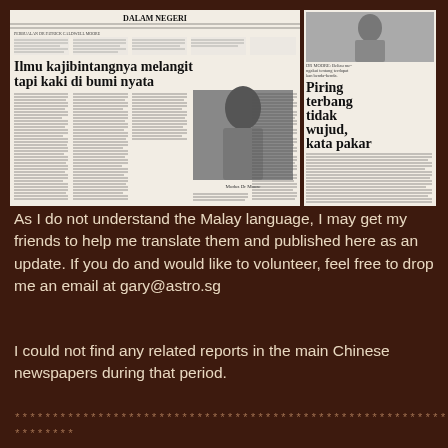[Figure (photo): Scanned newspaper clippings in Malay language. Main article with headline 'Ilmu kajibintangnya melangit tapi kaki di bumi nyata' under section 'DALAM NEGERI', with photo of Dr. Moore. Side article with headline 'Piring terbang tidak wujud, kata pakar'.]
As I do not understand the Malay language, I may get my friends to help me translate them and published here as an update. If you do and would like to volunteer, feel free to drop me an email at gary@astro.sg
I could not find any related reports in the main Chinese newspapers during that period.
************************************************************************
********